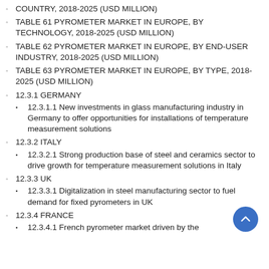COUNTRY, 2018-2025 (USD MILLION)
TABLE 61 PYROMETER MARKET IN EUROPE, BY TECHNOLOGY, 2018-2025 (USD MILLION)
TABLE 62 PYROMETER MARKET IN EUROPE, BY END-USER INDUSTRY, 2018-2025 (USD MILLION)
TABLE 63 PYROMETER MARKET IN EUROPE, BY TYPE, 2018-2025 (USD MILLION)
12.3.1 GERMANY
12.3.1.1 New investments in glass manufacturing industry in Germany to offer opportunities for installations of temperature measurement solutions
12.3.2 ITALY
12.3.2.1 Strong production base of steel and ceramics sector to drive growth for temperature measurement solutions in Italy
12.3.3 UK
12.3.3.1 Digitalization in steel manufacturing sector to fuel demand for fixed pyrometers in UK
12.3.4 FRANCE
12.3.4.1 French pyrometer market driven by the